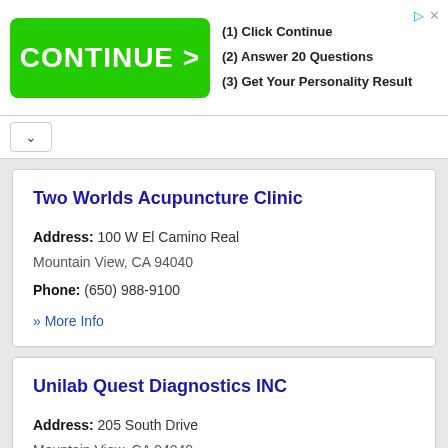[Figure (screenshot): Green CONTINUE > advertisement banner with steps: (1) Click Continue, (2) Answer 20 Questions, (3) Get Your Personality Result]
Two Worlds Acupuncture Clinic
Address: 100 W El Camino Real
Mountain View, CA 94040
Phone: (650) 988-9100
» More Info
Unilab Quest Diagnostics INC
Address: 205 South Drive
Mountain View, CA 94040
Phone: (650) 968-8852